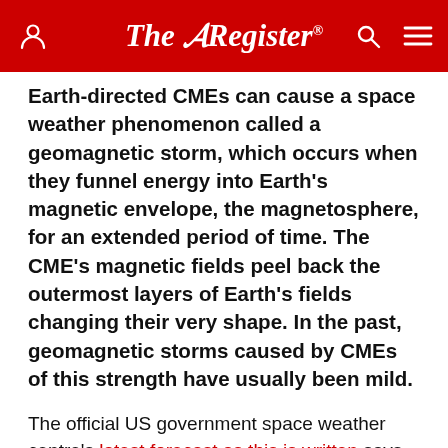The Register
Earth-directed CMEs can cause a space weather phenomenon called a geomagnetic storm, which occurs when they funnel energy into Earth's magnetic envelope, the magnetosphere, for an extended period of time. The CME's magnetic fields peel back the outermost layers of Earth's fields changing their very shape. In the past, geomagnetic storms caused by CMEs of this strength have usually been mild.
The official US government space weather centre's latest forecast as this is written says there is a 55 per cent chance of a "severe" geomagnetic storm on the 24th, and a 25 per cent chance the storm will be only "minor". However that's for regions near the poles; most